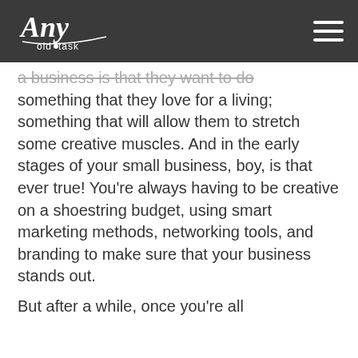Any old task [logo] [hamburger menu]
a business is that they want to do something that they love for a living; something that will allow them to stretch some creative muscles. And in the early stages of your small business, boy, is that ever true! You're always having to be creative on a shoestring budget, using smart marketing methods, networking tools, and branding to make sure that your business stands out.
But after a while, once you're all